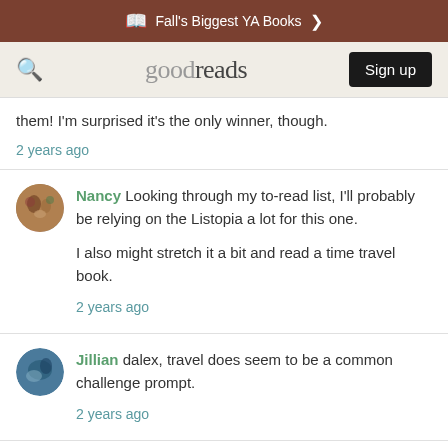Fall's Biggest YA Books >
goodreads  Sign up
them! I'm surprised it's the only winner, though.
2 years ago
Nancy Looking through my to-read list, I'll probably be relying on the Listopia a lot for this one.

I also might stretch it a bit and read a time travel book.
2 years ago
Jillian dalex, travel does seem to be a common challenge prompt.
2 years ago
Robin P Many books of all genres feature travel, for instance any fantasy with a quest, a mystery where the detective has to go to different places, lots of historical fiction about